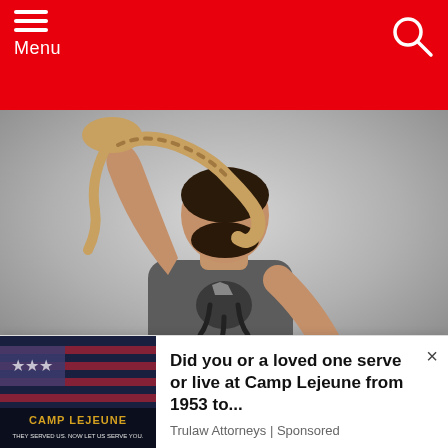Menu
[Figure (photo): A man in a dark gray t-shirt with an octopus graphic, holding up a large octopus whose tentacles wrap around his head and neck, against a gray background.]
My Kind Of Angel. ?As an artist, I soar high to the
[Figure (other): Advertisement: Camp Lejeune - Did you or a loved one serve or live at Camp Lejeune from 1953 to... Trulaw Attorneys | Sponsored]